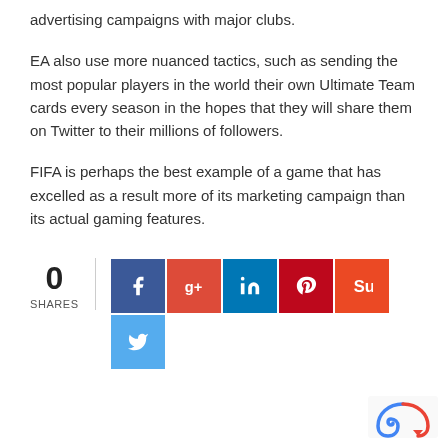advertising campaigns with major clubs.
EA also use more nuanced tactics, such as sending the most popular players in the world their own Ultimate Team cards every season in the hopes that they will share them on Twitter to their millions of followers.
FIFA is perhaps the best example of a game that has excelled as a result more of its marketing campaign than its actual gaming features.
[Figure (infographic): Social share buttons showing 0 shares, with buttons for Facebook, Google+, LinkedIn, Pinterest, StumbleUpon, and Twitter]